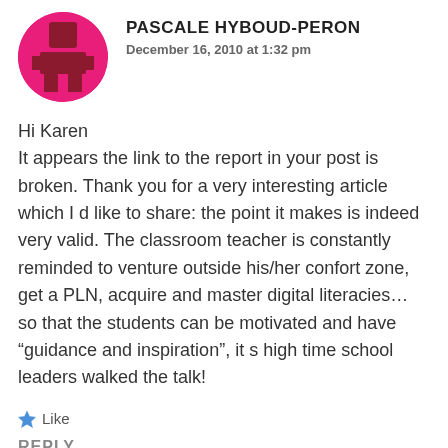[Figure (illustration): Circular avatar with pink/magenta background containing a pixel-art person icon in dark maroon/red]
PASCALE HYBOUD-PERON
December 16, 2010 at 1:32 pm
Hi Karen
It appears the link to the report in your post is broken. Thank you for a very interesting article which I d like to share: the point it makes is indeed very valid. The classroom teacher is constantly reminded to venture outside his/her confort zone, get a PLN, acquire and master digital literacies… so that the students can be motivated and have “guidance and inspiration”, it s high time school leaders walked the talk!
Like
REPLY